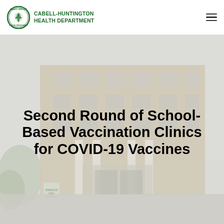CABELL-HUNTINGTON HEALTH DEPARTMENT
[Figure (photo): Exterior photo of the Cabell-Huntington Health Department building, a multi-story brick building with white columns, overlaid with a faded/washed-out effect]
Second Round of School-Based Vaccination Clinics for COVID-19 Vaccines